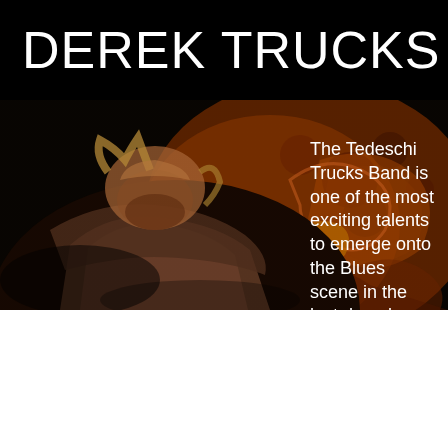DEREK TRUCKS
[Figure (photo): Derek Trucks playing guitar on stage, looking down, with colorful abstract art/guitar decoration visible in background. Dark concert lighting with warm orange/red tones.]
The Tedeschi Trucks Band is one of the most exciting talents to emerge onto the Blues scene in the last decade, and their success